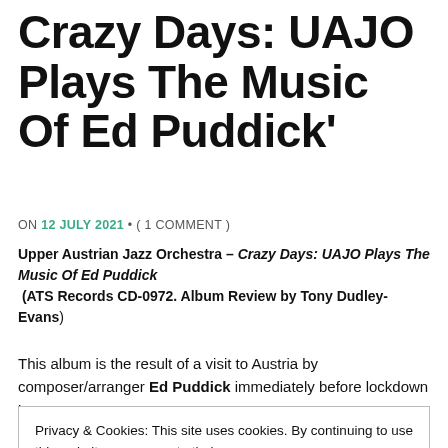Crazy Days: UAJO Plays The Music Of Ed Puddick'
ON 12 JULY 2021 • ( 1 COMMENT )
Upper Austrian Jazz Orchestra – Crazy Days: UAJO Plays The Music Of Ed Puddick (ATS Records CD-0972. Album Review by Tony Dudley-Evans)
This album is the result of a visit to Austria by composer/arranger Ed Puddick immediately before lockdown in
Privacy & Cookies: This site uses cookies. By continuing to use this website, you agree to their use.
To find out more, including how to control cookies, see here: Cookie Policy
as a result of a recommendation from Mike Gibbs who taught